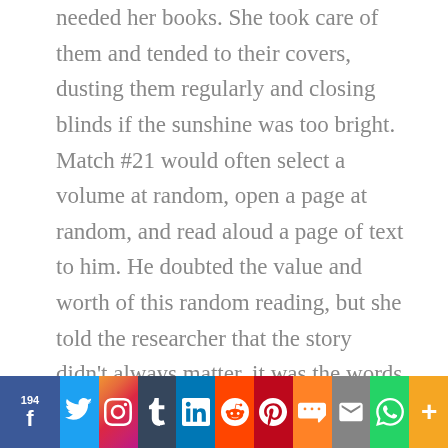needed her books. She took care of them and tended to their covers, dusting them regularly and closing blinds if the sunshine was too bright. Match #21 would often select a volume at random, open a page at random, and read aloud a page of text to him. He doubted the value and worth of this random reading, but she told the researcher that the story didn't always matter, it was the words and the phrasing, and the images they conjured; it was the impression they made on you. And this he understood well.
194 | Share buttons: Facebook, Twitter, Instagram, Tumblr, LinkedIn, Reddit, Pinterest, Mix, Mail, WhatsApp, More